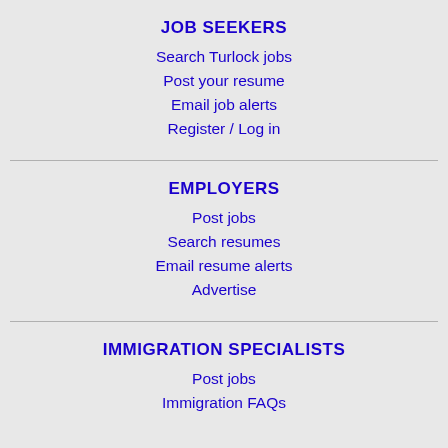JOB SEEKERS
Search Turlock jobs
Post your resume
Email job alerts
Register / Log in
EMPLOYERS
Post jobs
Search resumes
Email resume alerts
Advertise
IMMIGRATION SPECIALISTS
Post jobs
Immigration FAQs